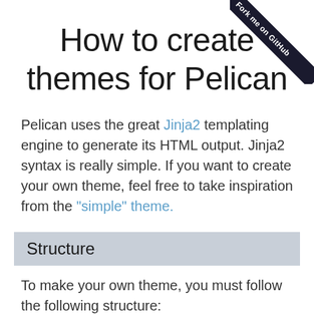How to create themes for Pelican
Pelican uses the great Jinja2 templating engine to generate its HTML output. Jinja2 syntax is really simple. If you want to create your own theme, feel free to take inspiration from the "simple" theme.
Structure
To make your own theme, you must follow the following structure: